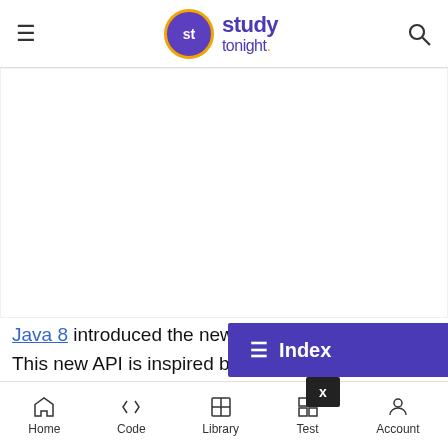studytonight — navigation header with logo and search
[Figure (other): Blank white advertisement or content space]
Java 8 introduced the new Date and Ti[me] API. This new API is inspired by the popula[r Joda-Time] library. It was added to overcome the drawbacks of the existing Date API.
[Figure (other): Index overlay button with '≡ Index' label and X close button]
Home | Code | Library | Test | Account